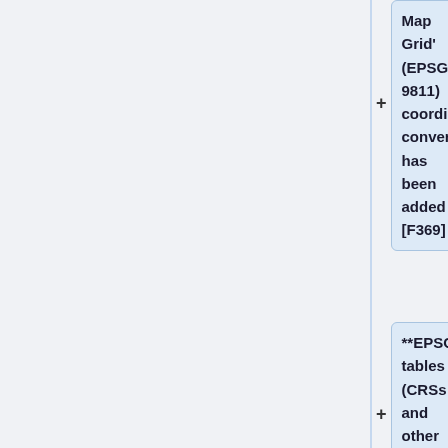coordinate conversion has been added [F369]
**EPSG tables (CRSs and other objects) have been updated to version 10.058 [T5300]
*""'Fixes'""
**Sometimes there was an error when backtracking in the Import Wizard [D2392]